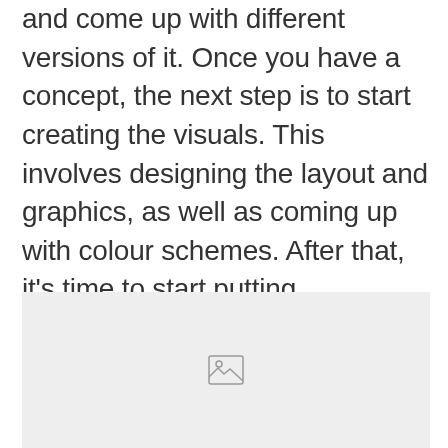and come up with different versions of it. Once you have a concept, the next step is to start creating the visuals. This involves designing the layout and graphics, as well as coming up with colour schemes. After that, it's time to start putting everything together and testing it out. If everything looks good, you can move on to the final stage: production.
[Figure (photo): Image placeholder with a generic image icon (mountain and sun) centered in a light grey rectangle]